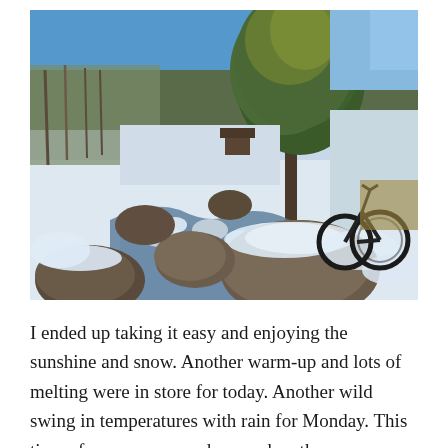[Figure (photo): Outdoor winter scene with a partially frozen stream flowing between large snow-covered rocks, a leafy evergreen tree in the upper right, bare deciduous trees in the background, blue sky, and a fat-tire bicycle leaning against the tree on the right side.]
I ended up taking it easy and enjoying the sunshine and snow. Another warm-up and lots of melting were in store for today. Another wild swing in temperatures with rain for Monday. This time of year you never know when the